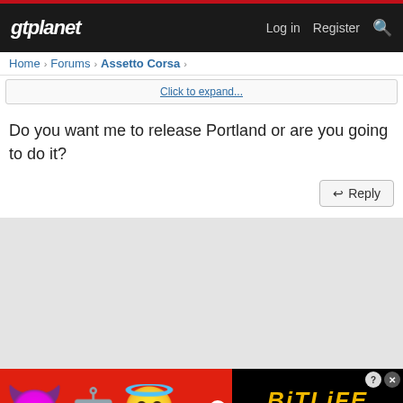gtplanet | Log in  Register
Home > Forums > Assetto Corsa >
Click to expand...
Do you want me to release Portland or are you going to do it?
[Figure (screenshot): Reply button with reply arrow icon]
[Figure (illustration): BitLife ad banner with devil emoji, person emoji, angel emoji, sperm icon, BitLife logo in yellow, REAL CHOICES text in white on black background, on a red background]